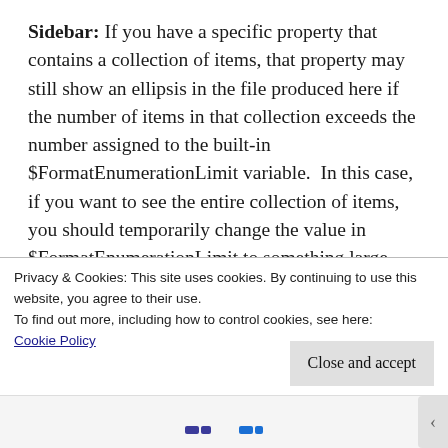Sidebar: If you have a specific property that contains a collection of items, that property may still show an ellipsis in the file produced here if the number of items in that collection exceeds the number assigned to the built-in $FormatEnumerationLimit variable.  In this case, if you want to see the entire collection of items, you should temporarily change the value in $FormatEnumerationLimit to something large enough to show your collection (-1 if you
Privacy & Cookies: This site uses cookies. By continuing to use this website, you agree to their use.
To find out more, including how to control cookies, see here: Cookie Policy